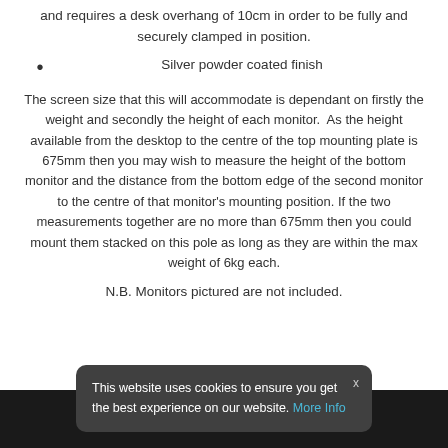and requires a desk overhang of 10cm in order to be fully and securely clamped in position.
Silver powder coated finish
The screen size that this will accommodate is dependant on firstly the weight and secondly the height of each monitor.  As the height available from the desktop to the centre of the top mounting plate is 675mm then you may wish to measure the height of the bottom monitor and the distance from the bottom edge of the second monitor to the centre of that monitor's mounting position. If the two measurements together are no more than 675mm then you could mount them stacked on this pole as long as they are within the max weight of 6kg each.
N.B. Monitors pictured are not included.
This website uses cookies to ensure you get the best experience on our website. More Info